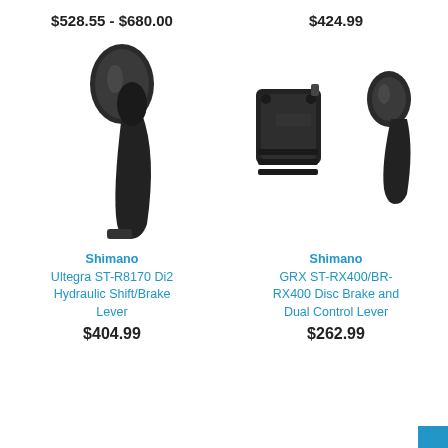$528.55 - $680.00
$424.99
[Figure (photo): Shimano Ultegra ST-R8170 Di2 Hydraulic Shift/Brake Lever - black lever component]
[Figure (photo): Shimano GRX ST-RX400/BR-RX400 Disc Brake and Dual Control Lever - black brake and lever components]
Shimano
Ultegra ST-R8170 Di2 Hydraulic Shift/Brake Lever
$404.99
Shimano
GRX ST-RX400/BR-RX400 Disc Brake and Dual Control Lever
$262.99